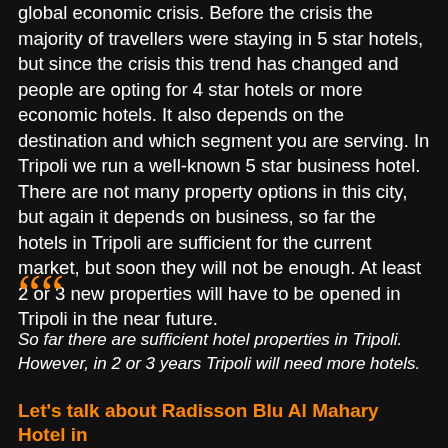global economic crisis. Before the crisis the majority of travellers were staying in 5 star hotels, but since the crisis this trend has changed and people are opting for 4 star hotels or more economic hotels. It also depends on the destination and which segment you are serving. In Tripoli we run a well-known 5 star business hotel. There are not many property options in this city, but again it depends on business, so far the hotels in Tripoli are sufficient for the current market, but soon they will not be enough. At least 2 or 3 new properties will have to be opened in Tripoli in the near future.
So far there are sufficient hotel properties in Tripoli. However, in 2 or 3 years Tripoli will need more hotels.
Let's talk about Radisson Blu Al Mahary Hotel in